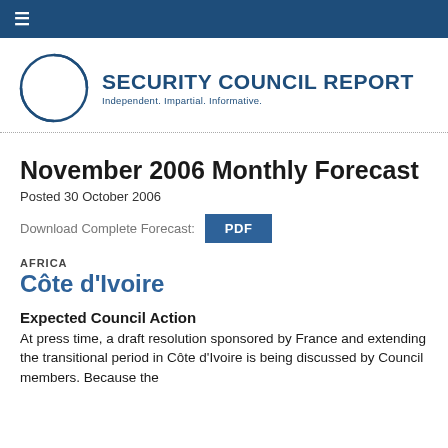≡
[Figure (logo): Security Council Report logo — circle with text 'SECURITY COUNCIL REPORT Independent. Impartial. Informative.']
November 2006 Monthly Forecast
Posted 30 October 2006
Download Complete Forecast: PDF
AFRICA
Côte d'Ivoire
Expected Council Action
At press time, a draft resolution sponsored by France and extending the transitional period in Côte d'Ivoire is being discussed by Council members. Because the